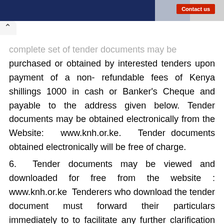Contact us
complete set of tender documents may be purchased or obtained by interested tenders upon payment of a non- refundable fees of Kenya shillings 1000 in cash or Banker's Cheque and payable to the address given below. Tender documents may be obtained electronically from the Website: www.knh.or.ke. Tender documents obtained electronically will be free of charge.
6. Tender documents may be viewed and downloaded for free from the website : www.knh.or.ke Tenderers who download the tender document must forward their particulars immediately to to facilitate any further clarification or addendum.